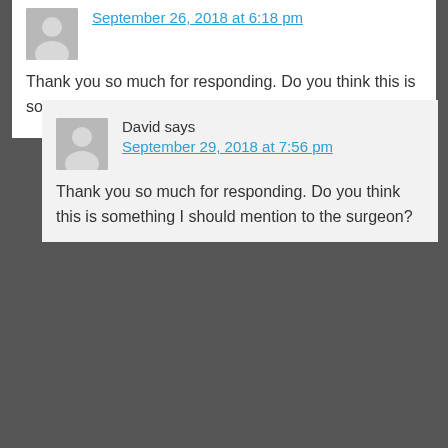September 26, 2018 at 6:18 pm
Thank you so much for responding. Do you think this is something I should mention to the surgeon?
David says
September 29, 2018 at 7:56 pm
Thank you so much for responding. Do you think this is something I should mention to the surgeon?
Dan Baumstark,